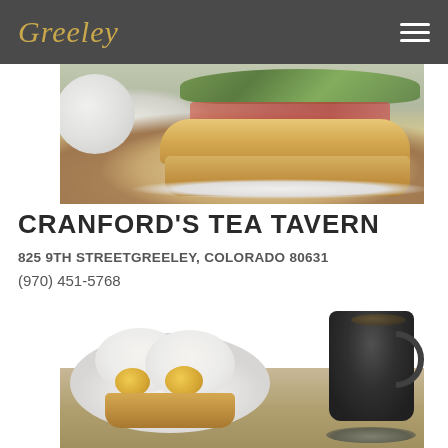Greeley
[Figure (photo): Photo of a sandwich with greens on a plate with a white teapot]
CRANFORD'S TEA TAVERN
825 9TH STREETGREELEY, COLORADO 80631
(970) 451-5768
[Figure (photo): Photo of eggs benedict on a plate with a dark mug of coffee or tea on a counter]